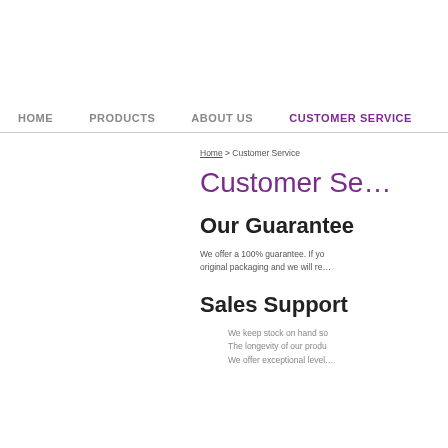HOME   PRODUCTS   ABOUT US   CUSTOMER SERVICE
Home > Customer Service
Customer Se...
Our Guarantee
We offer a 100% guarantee. If yo... original packaging and we will re...
Sales Support
We keep stock on hand so...
The longevity of our produ...
We offer exceptional level...